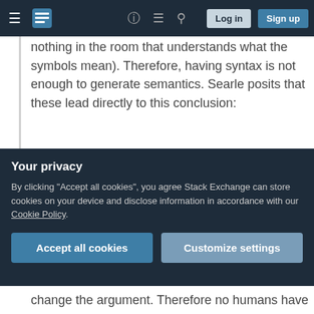Stack Exchange navigation bar with Log in and Sign up buttons
nothing in the room that understands what the symbols mean). Therefore, having syntax is not enough to generate semantics. Searle posits that these lead directly to this conclusion:
(C1) Programs are neither constitutive of nor sufficient for minds. This should follow without controversy from the first three: Programs don't have semantics. Programs have only syntax, and syntax is insufficient
Your privacy
By clicking "Accept all cookies", you agree Stack Exchange can store cookies on your device and disclose information in accordance with our Cookie Policy.
Accept all cookies
Customize settings
change the argument. Therefore no humans have